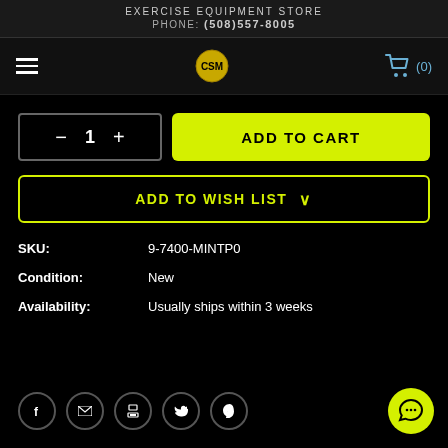EXERCISE EQUIPMENT STORE
PHONE: (508)557-8005
1
ADD TO CART
ADD TO WISH LIST
SKU: 9-7400-MINTP0
Condition: New
Availability: Usually ships within 3 weeks